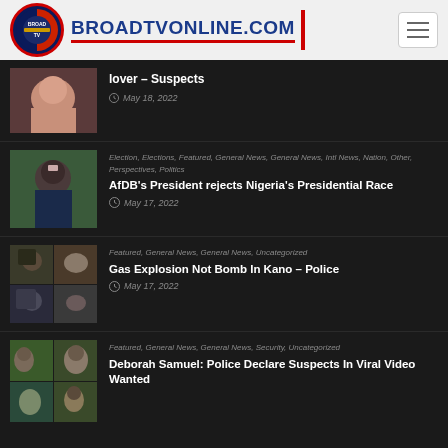[Figure (logo): BroadTVOnline.com logo with circular emblem and site name]
lover – Suspects
May 18, 2022
Election, Elections, Featured, General News, General News, Intl News, Nation, Other, Perspectives, Politics
AfDB's President rejects Nigeria's Presidential Race
May 17, 2022
Featured, General News, General News, Uncategorized
Gas Explosion Not Bomb In Kano – Police
May 17, 2022
Featured, General News, General News, Security, Uncategorized
Deborah Samuel: Police Declare Suspects In Viral Video Wanted